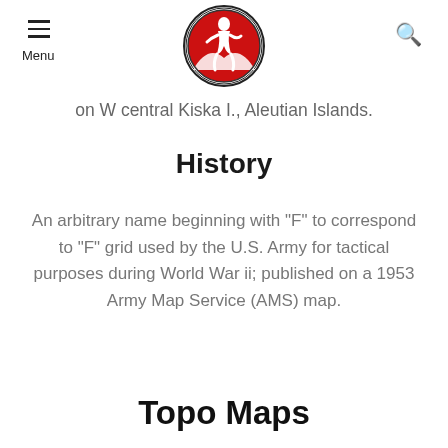Menu | Alaska Guide Co. Wilderness Adventures logo | Search
on W central Kiska I., Aleutian Islands.
History
An arbitrary name beginning with "F" to correspond to "F" grid used by the U.S. Army for tactical purposes during World War ii; published on a 1953 Army Map Service (AMS) map.
Topo Maps